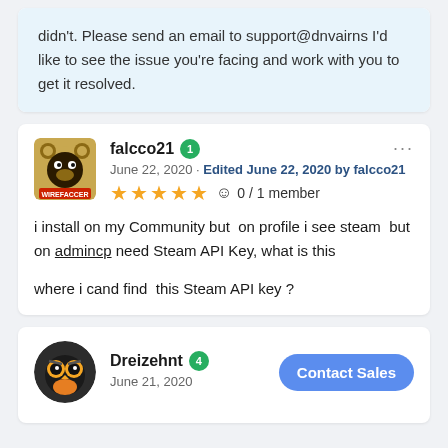didn't. Please send an email to support@dnvairns I'd like to see the issue you're facing and work with you to get it resolved.
falcco21 · 1 · June 22, 2020 · Edited June 22, 2020 by falcco21 · ★★★★★ · ☺ 0 / 1 member
i install on my Community but on profile i see steam but on admincp need Steam API Key, what is this

where i cand find this Steam API key ?
Dreizehnt · 4 · June 21, 2020